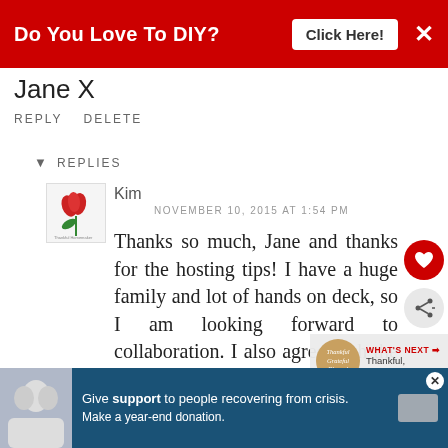[Figure (screenshot): Red advertisement banner at top: 'Do You Love To DIY? Click Here!' with X close button]
Jane X
REPLY DELETE
REPLIES
[Figure (logo): User avatar with tulip/flower logo for Kim]
Kim
NOVEMBER 10, 2015 AT 1:54 PM
Thanks so much, Jane and thanks for the hosting tips! I have a huge family and lot of hands on deck, so I am looking forward to collaboration. I also agree with the make ahead advice
[Figure (screenshot): Bottom advertisement banner: Give support to people recovering from crisis. Make a year-end donation.]